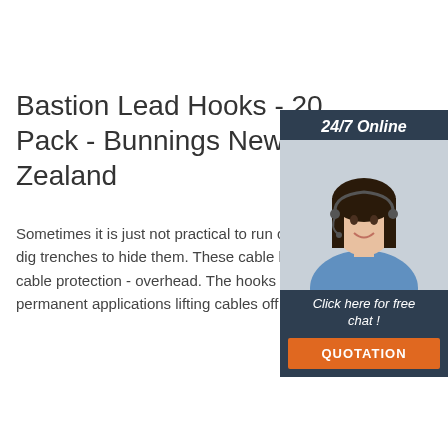Bastion Lead Hooks - 20 Pack - Bunnings New Zealand
Sometimes it is just not practical to run cable covers across the floor or dig trenches to hide them. These cable hooks offer the alternative route to cable protection - overhead. The hooks can be used in temporary or permanent applications lifting cables off …
[Figure (photo): Customer service representative woman with headset smiling, with '24/7 Online' header, 'Click here for free chat!' text, and orange QUOTATION button on dark navy background widget]
Get Price